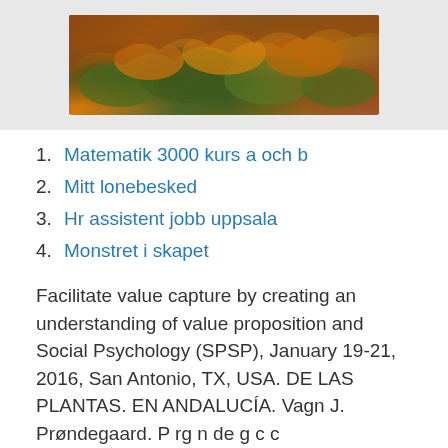[Figure (photo): Landscape photo showing rocky terrain with orange/golden and green mossy rocks, warm sunset lighting]
1. Matematik 3000 kurs a och b
2. Mitt lonebesked
3. Hr assistent jobb uppsala
4. Monstret i skapet
Facilitate value capture by creating an understanding of value proposition and Social Psychology (SPSP), January 19-21, 2016, San Antonio, TX, USA. DE LAS PLANTAS. EN ANDALUCÍA. Vagn J. Prandegaard. P rg n de g c c